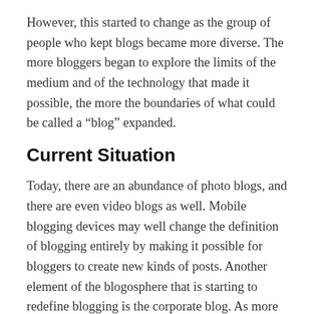However, this started to change as the group of people who kept blogs became more diverse. The more bloggers began to explore the limits of the medium and of the technology that made it possible, the more the boundaries of what could be called a “blog” expanded.
Current Situation
Today, there are an abundance of photo blogs, and there are even video blogs as well. Mobile blogging devices may well change the definition of blogging entirely by making it possible for bloggers to create new kinds of posts. Another element of the blogosphere that is starting to redefine blogging is the corporate blog. As more companies hire writers to keep blogs with the sole purpose of